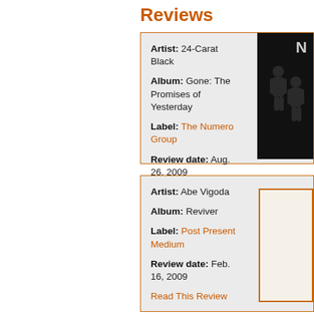Reviews
Artist: 24-Carat Black
Album: Gone: The Promises of Yesterday
Label: The Numero Group
Review date: Aug. 26, 2009
Read This Review
Artist: Abe Vigoda
Album: Reviver
Label: Post Present Medium
Review date: Feb. 16, 2009
Read This Review
Artist: Amede Ardoin